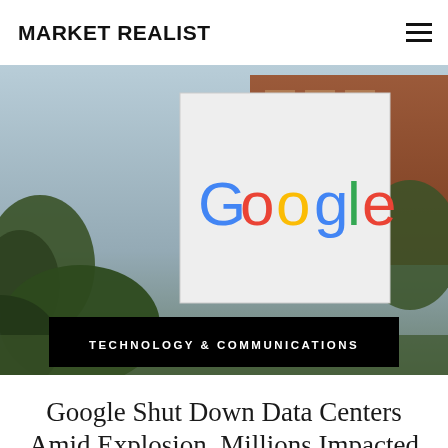MARKET REALIST
[Figure (photo): Google headquarters sign outdoors with building and trees in background. Black banner overlay reading TECHNOLOGY & COMMUNICATIONS.]
TECHNOLOGY & COMMUNICATIONS
Google Shut Down Data Centers Amid Explosion, Millions Impacted
[Figure (photo): Illustration with a blackboard saying HEY Google and Google Home devices and books on a shelf.]